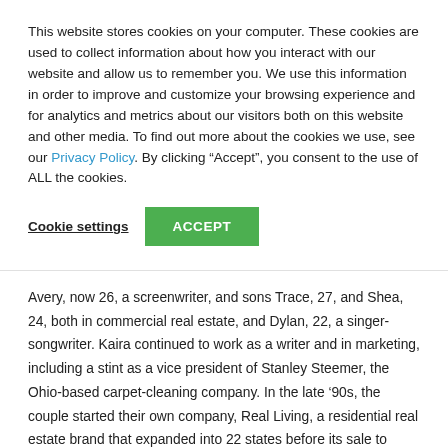This website stores cookies on your computer. These cookies are used to collect information about how you interact with our website and allow us to remember you. We use this information in order to improve and customize your browsing experience and for analytics and metrics about our visitors both on this website and other media. To find out more about the cookies we use, see our Privacy Policy. By clicking "Accept", you consent to the use of ALL the cookies.
Cookie settings | ACCEPT
Avery, now 26, a screenwriter, and sons Trace, 27, and Shea, 24, both in commercial real estate, and Dylan, 22, a singer-songwriter. Kaira continued to work as a writer and in marketing, including a stint as a vice president of Stanley Steemer, the Ohio-based carpet-cleaning company. In the late ’90s, the couple started their own company, Real Living, a residential real estate brand that expanded into 22 states before its sale to Berkshire Hathaway.